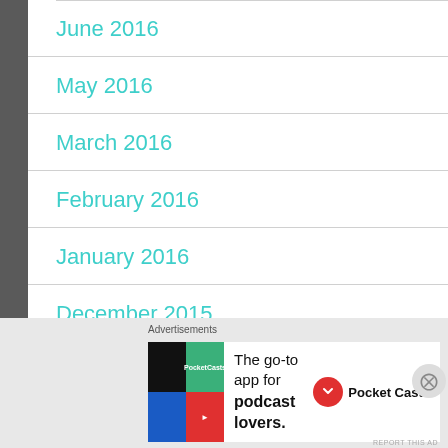June 2016
May 2016
March 2016
February 2016
January 2016
December 2015
November 2015
[Figure (infographic): Pocket Casts advertisement: The go-to app for podcast lovers.]